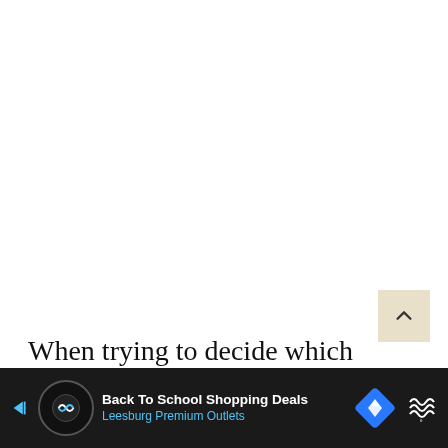[Figure (other): Scroll-to-top button: a square with beige/tan background and an upward-pointing chevron arrow icon, positioned in the lower-right area of a white content region.]
When trying to decide which destinations in Taiwan to include on your itinerary, it will be useful to learn about each one of them to d...
[Figure (screenshot): Advertisement banner at the bottom of the page: dark/black background with a circular icon (navigation/maps logo), left arrow, text 'Back To School Shopping Deals' in white bold and 'Leesburg Premium Outlets' in blue, a blue diamond navigation icon, and a weather widget with wavy lines icon.]